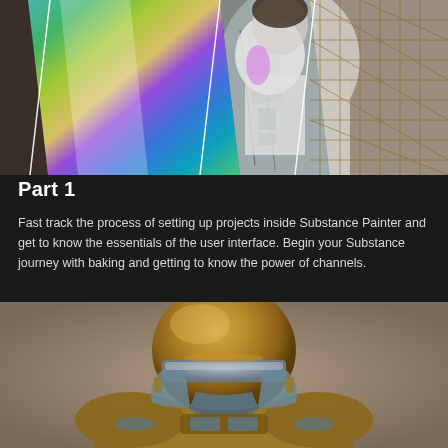[Figure (illustration): Composite image showing a 3D character model with texture maps overlaid in diagonal strips - showing normal map (rainbow/iridescent colors), UV/wireframe view, and geometry wireframe of a humanoid figure]
Part 1
Fast track the process of setting up projects inside Substance Painter and get to know the essentials of the user interface. Begin your Substance journey with baking and getting to know the power of channels.
[Figure (photo): Front-facing render of a Mandalorian-style helmet and armor in bronze/gold metallic finish with blue-grey visor accents, set against a warm beige-brown background]